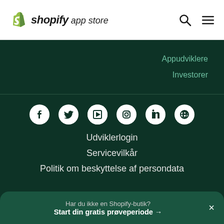shopify app store
Appudviklere
Investorer
Udviklerlogin
Servicevilkår
Politik om beskyttelse af persondata
Har du ikke en Shopify-butik? Start din gratis prøveperiode →